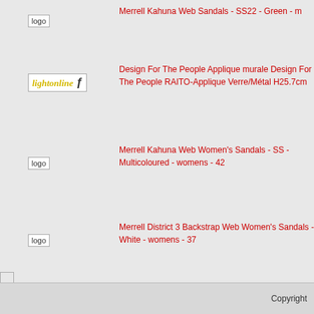[Figure (logo): Generic logo placeholder image for product row 1]
Merrell Kahuna Web Sandals - SS22 - Green - m
[Figure (logo): Lightonline logo - yellow italic text with symbol]
Design For The People Applique murale Design For The People RAITO-Applique Verre/Métal H25.7cm
[Figure (logo): Generic logo placeholder image for product row 3]
Merrell Kahuna Web Women's Sandals - SS - Multicoloured - womens - 42
[Figure (logo): Generic logo placeholder image for product row 4]
Merrell District 3 Backstrap Web Women's Sandals - White - womens - 37
Copyright